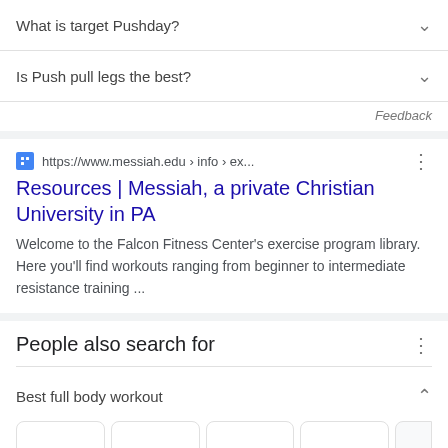What is target Pushday?
Is Push pull legs the best?
Feedback
https://www.messiah.edu › info › ex...
Resources | Messiah, a private Christian University in PA
Welcome to the Falcon Fitness Center's exercise program library. Here you'll find workouts ranging from beginner to intermediate resistance training ...
People also search for
Best full body workout